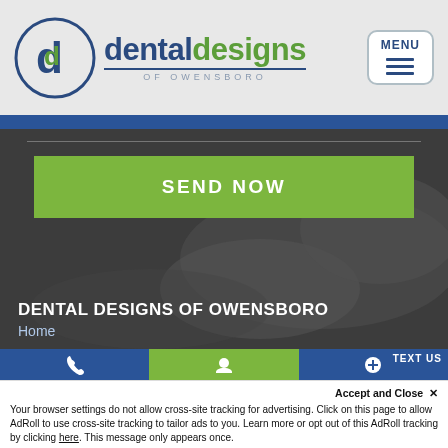[Figure (logo): Dental Designs of Owensboro logo with circular dd emblem and text, plus MENU button]
[Figure (screenshot): Hero section with dark background showing SEND NOW green button]
DENTAL DESIGNS OF OWENSBORO
Home
Accept and Close ✕
Your browser settings do not allow cross-site tracking for advertising. Click on this page to allow AdRoll to use cross-site tracking to tailor ads to you. Learn more or opt out of this AdRoll tracking by clicking here. This message only appears once.